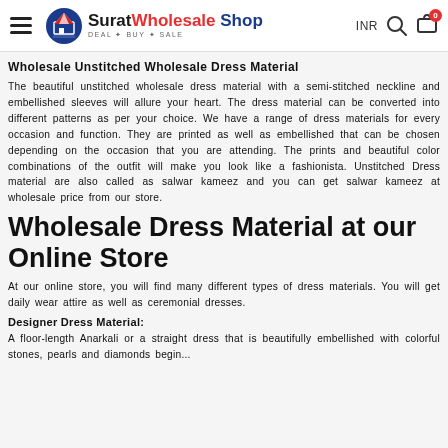Surat Wholesale Shop — DEAL • BUY • SALE — INR
Wholesale Unstitched Wholesale Dress Material
The beautiful unstitched wholesale dress material with a semi-stitched neckline and embellished sleeves will allure your heart. The dress material can be converted into different patterns as per your choice. We have a range of dress materials for every occasion and function. They are printed as well as embellished that can be chosen depending on the occasion that you are attending. The prints and beautiful color combinations of the outfit will make you look like a fashionista. Unstitched Dress material are also called as salwar kameez and you can get salwar kameez at wholesale price from our store.
Wholesale Dress Material at our Online Store
At our online store, you will find many different types of dress materials. You will get daily wear attire as well as ceremonial dresses.
Designer Dress Material:
A floor-length Anarkali or a straight dress that is beautifully embellished with colorful stones, pearls and diamonds begin...